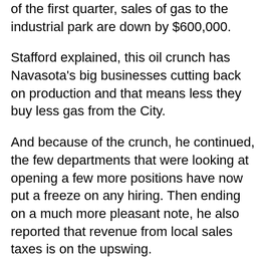of the first quarter, sales of gas to the industrial park are down by $600,000.
Stafford explained, this oil crunch has Navasota's big businesses cutting back on production and that means less they buy less gas from the City.
And because of the crunch, he continued, the few departments that were looking at opening a few more positions have now put a freeze on any hiring. Then ending on a much more pleasant note, he also reported that revenue from local sales taxes is on the upswing.
And apparently the effects of low oil prices have also spread, to other areas of the community, according to local housing authority's Karen Larue report to council since oil started to drop; she's witnessed